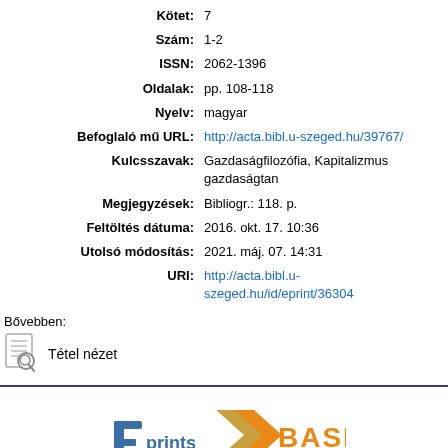| Label | Value |
| --- | --- |
| Kötet: | 7 |
| Szám: | 1-2 |
| ISSN: | 2062-1396 |
| Oldalak: | pp. 108-118 |
| Nyelv: | magyar |
| Befoglaló mű URL: | http://acta.bibl.u-szeged.hu/39767/ |
| Kulcsszavak: | Gazdaságfilozófia, Kapitalizmus gazdaságtan |
| Megjegyzések: | Bibliogr.: 118. p. |
| Feltöltés dátuma: | 2016. okt. 17. 10:36 |
| Utolsó módosítás: | 2021. máj. 07. 14:31 |
| URI: | http://acta.bibl.u-szeged.hu/id/eprint/36304 |
Bővebben:
Tétel nézet
[Figure (logo): EPrints and BASE logos at the bottom of the page]